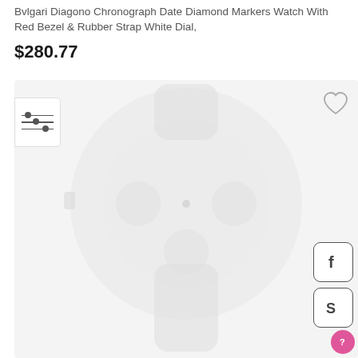Bvlgari Diagono Chronograph Date Diamond Markers Watch With Red Bezel & Rubber Strap White Dial,
$280.77
[Figure (photo): Product photo area showing a blurred/watermarked Bvlgari watch on a light gray background, with a heart/wishlist icon in the top right, filter sliders icon on the left edge, Facebook share button, Skype button, and a pink help/chat button in the bottom right corner.]